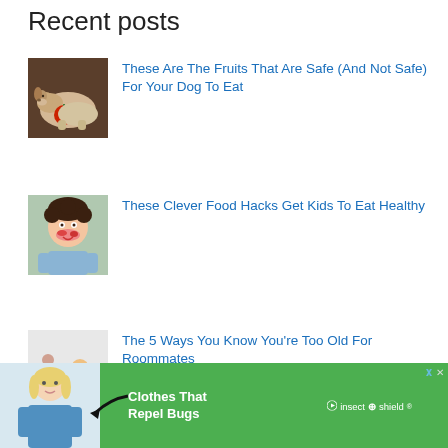Recent posts
These Are The Fruits That Are Safe (And Not Safe) For Your Dog To Eat
These Clever Food Hacks Get Kids To Eat Healthy
The 5 Ways You Know You're Too Old For Roommates
[Figure (infographic): Advertisement banner with woman in blue scrubs and 'Clothes That Repel Bugs insect shield' on green background]